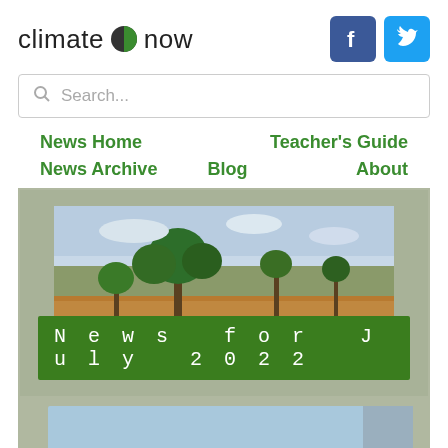climate now
[Figure (logo): Facebook icon blue square with white F]
[Figure (logo): Twitter icon light blue square with white bird]
Search...
News Home
Teacher's Guide
News Archive
Blog
About
[Figure (photo): Arid landscape with sparse trees and dry brown earth under a partly cloudy sky]
News for July 2022
[Figure (screenshot): Light blue rectangle preview of content below]